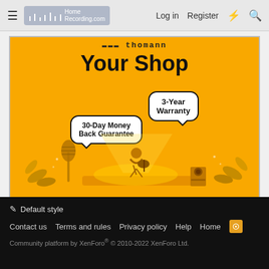HomeRecording.com — Log in | Register
[Figure (illustration): Thomann 'Your Shop' promotional banner on yellow background with speech bubbles reading '30-Day Money Back Guarantee' and '3-Year Warranty', with illustrated musician, microphone, speaker, and decorative plants at the bottom.]
< Prime Time
✎ Default style
Contact us   Terms and rules   Privacy policy   Help   Home   [RSS]
Community platform by XenForo® © 2010-2022 XenForo Ltd.